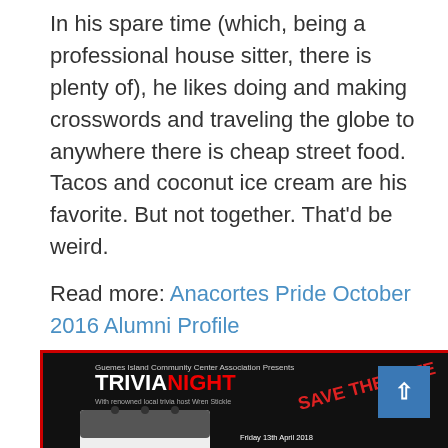In his spare time (which, being a professional house sitter, there is plenty of), he likes doing and making crosswords and traveling the globe to anywhere there is cheap street food. Tacos and coconut ice cream are his favorite. But not together. That'd be weird.
Read more: Anacortes Pride October 2016 Alumni Profile
[Figure (photo): Trivia Night event flyer for Guemes Island Community Center Association. Black background with red border. Shows a calendar page with number 13 and text 'FRIDAY'. Includes 'SAVE THE DATE' in red, event details for Friday 13th April 2018 with information about costs, tables, prizes, and registration.]